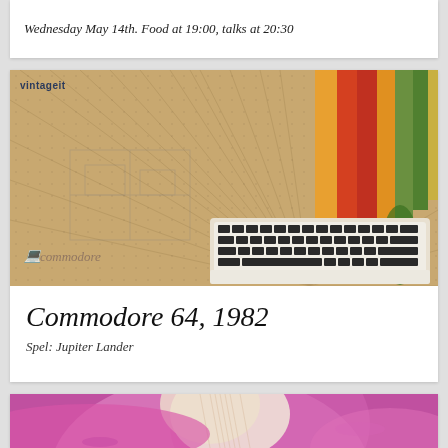Wednesday May 14th. Food at 19:00, talks at 20:30
[Figure (photo): Vintage-styled illustration with a Commodore 64 computer keyboard, retro striped bands in orange, red, green colors on an aged parchment background with the Commodore logo and 'vintageit' label]
Commodore 64, 1982
Spel: Jupiter Lander
[Figure (photo): Close-up macro photo of a pink/magenta flower showing petals and stamens with a vivid pink and cream color palette]